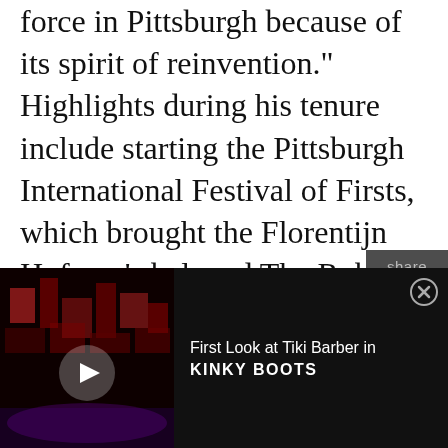force in Pittsburgh because of its spirit of reinvention." Highlights during his tenure include starting the Pittsburgh International Festival of Firsts, which brought the Florentijn Hofman's beloved The Rubber Duck Project to the Allegheny River; the presentation of geographically-targeted arts and culture festivals including the Quebec, Australia, Distinctively Dutch, and India In Focus festivals; the Pittsburgh premiere of several internationally-renown theater companies including The Globe Theatre and Dublin's Gate Theatre, increasing the scope of the Broadway in Pittsburgh series with such blockbuster events as Disney's The Lion King, Wicked, and Hamilton, and the launch of the very popular Cultural
[Figure (screenshot): Share sidebar with Twitter and Facebook icons on dark gray background]
[Figure (screenshot): Advertisement bar at bottom: thumbnail image of stage show on left, text 'First Look at Tiki Barber in KINKY BOOTS' on right, with close button]